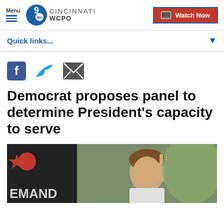Menu | WCPO 9 ABC CINCINNATI | Watch Now
Quick links...
[Figure (screenshot): Social sharing icons: Facebook, Twitter, Email]
Democrat proposes panel to determine President's capacity to serve
[Figure (photo): A man with curly hair pointing upward with one finger, standing in front of a flag with red stars, with text EMAND partially visible]